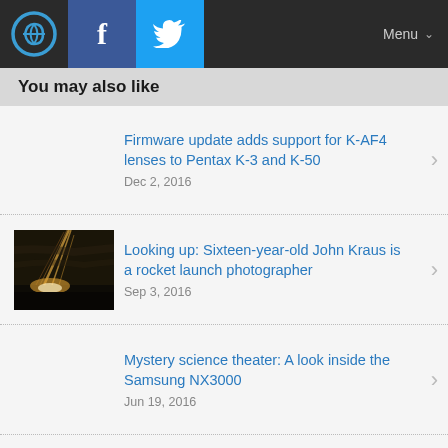Menu
You may also like
Firmware update adds support for K-AF4 lenses to Pentax K-3 and K-50
Dec 2, 2016
Looking up: Sixteen-year-old John Kraus is a rocket launch photographer
Sep 3, 2016
Mystery science theater: A look inside the Samsung NX3000
Jun 19, 2016
Sony announces camera shipment delays due to Kumamoto earthquake
Jun 28, 2016